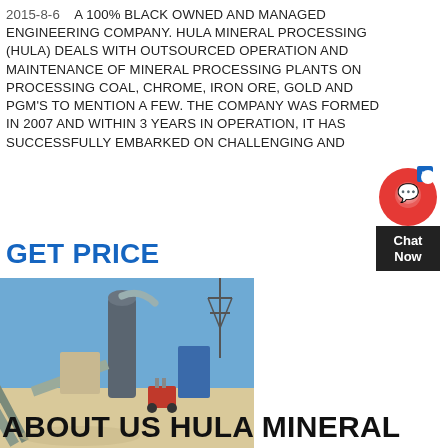2015-8-6   A 100% BLACK OWNED AND MANAGED ENGINEERING COMPANY. HULA MINERAL PROCESSING (HULA) DEALS WITH OUTSOURCED OPERATION AND MAINTENANCE OF MINERAL PROCESSING PLANTS ON PROCESSING COAL, CHROME, IRON ORE, GOLD AND PGM'S TO MENTION A FEW. THE COMPANY WAS FORMED IN 2007 AND WITHIN 3 YEARS IN OPERATION, IT HAS SUCCESSFULLY EMBARKED ON CHALLENGING AND
GET PRICE
[Figure (photo): Outdoor industrial mineral processing plant facility with conveyor belts, large cylindrical mill/separator equipment, blue storage containers, and a red forklift. Power line tower visible in background against blue sky.]
ABOUT US HULA MINERAL